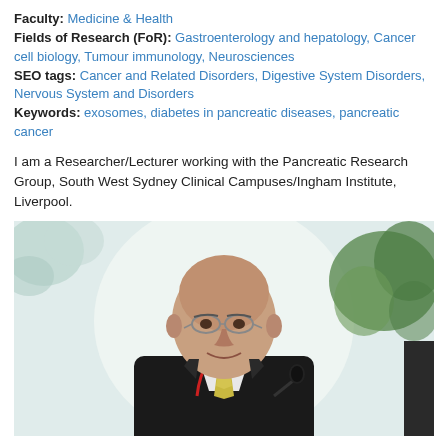Faculty: Medicine & Health
Fields of Research (FoR): Gastroenterology and hepatology, Cancer cell biology, Tumour immunology, Neurosciences
SEO tags: Cancer and Related Disorders, Digestive System Disorders, Nervous System and Disorders
Keywords: exosomes, diabetes in pancreatic diseases, pancreatic cancer
I am a Researcher/Lecturer working with the Pancreatic Research Group, South West Sydney Clinical Campuses/Ingham Institute, Liverpool.
[Figure (photo): Portrait photo of a bald middle-aged man wearing glasses, a dark suit, white shirt, and yellow tie with a red lanyard, smiling, standing at a podium with a microphone, in front of a decorative background with painted flowers.]